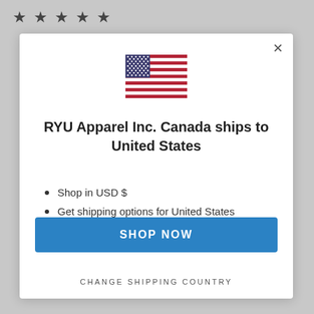[Figure (illustration): Four star rating icons (★★★★★ style, gray) in top left background area]
[Figure (illustration): US flag SVG inside modal dialog]
RYU Apparel Inc. Canada ships to United States
Shop in USD $
Get shipping options for United States
SHOP NOW
CHANGE SHIPPING COUNTRY